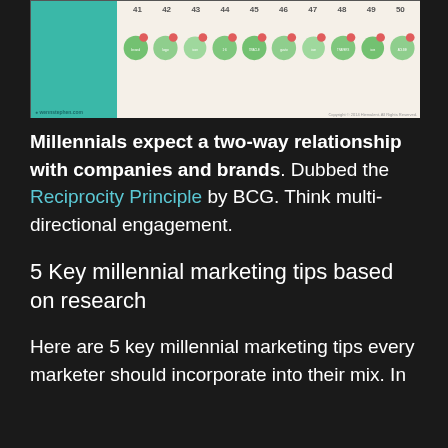[Figure (infographic): Infographic showing numbered items 41 through 50 with circular icons on a beige background, with a teal left panel. Numbers appear at top (41, 42, 43, 44, 45, 46, 47, 48, 49, 50) with corresponding colored circle icons below each number.]
Millennials expect a two-way relationship with companies and brands. Dubbed the Reciprocity Principle by BCG. Think multi-directional engagement.
5 Key millennial marketing tips based on research
Here are 5 key millennial marketing tips every marketer should incorporate into their mix. In